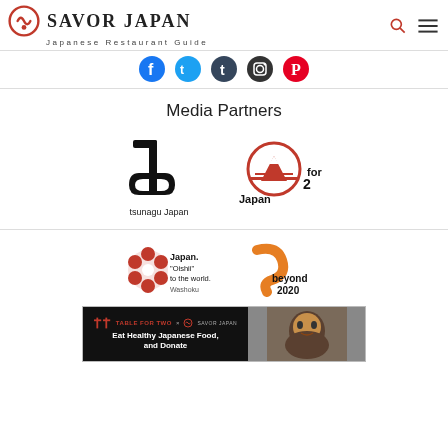Savor Japan — Japanese Restaurant Guide
[Figure (logo): Savor Japan logo with icon and navigation icons (search, menu)]
[Figure (infographic): Social media icons: Facebook, Twitter, Tumblr, Instagram, Pinterest]
Media Partners
[Figure (logo): tsunagu Japan logo — black stylized Japanese character icon with text 'tsunagu Japan']
[Figure (logo): Japan for 2 logo — red circle with Mt. Fuji silhouette and text 'Japan for 2']
[Figure (logo): Japan. Oishii to the world. Washoku logo — red sakura flower with text]
[Figure (logo): beyond 2020 logo — orange/red swoosh shape with text 'beyond 2020']
[Figure (infographic): Ad banner: TABLE FOR TWO x Savor Japan — Eat Healthy Japanese Food, and Donate]